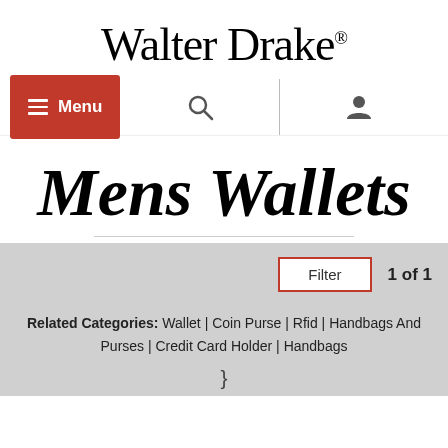Walter Drake®
[Figure (screenshot): Navigation bar with red Menu button (hamburger icon + Menu text), search icon, and account/user icon]
Mens Wallets
Filter   1 of 1
Related Categories: Wallet | Coin Purse | Rfid | Handbags And Purses | Credit Card Holder | Handbags
}